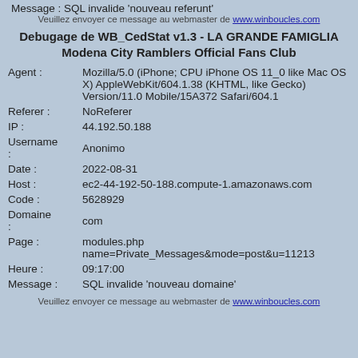Message : SQL invalide 'nouveau referunt'
Veuillez envoyer ce message au webmaster de www.winboucles.com
Debugage de WB_CedStat v1.3 - LA GRANDE FAMIGLIA Modena City Ramblers Official Fans Club
Agent : Mozilla/5.0 (iPhone; CPU iPhone OS 11_0 like Mac OS X) AppleWebKit/604.1.38 (KHTML, like Gecko) Version/11.0 Mobile/15A372 Safari/604.1
Referer : NoReferer
IP : 44.192.50.188
Username : Anonimo
Date : 2022-08-31
Host : ec2-44-192-50-188.compute-1.amazonaws.com
Code : 5628929
Domaine : com
Page : modules.php name=Private_Messages&mode=post&u=11213
Heure : 09:17:00
Message : SQL invalide 'nouveau domaine'
Veuillez envoyer ce message au webmaster de www.winboucles.com